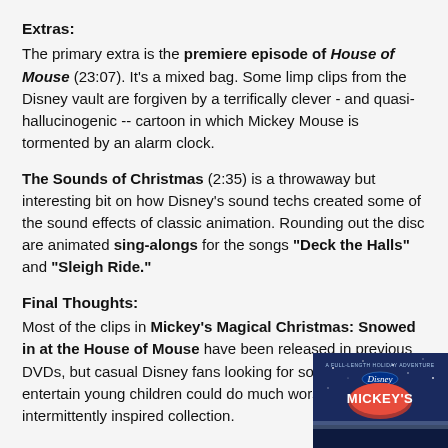Extras:
The primary extra is the premiere episode of House of Mouse (23:07). It's a mixed bag. Some limp clips from the Disney vault are forgiven by a terrifically clever - and quasi-hallucinogenic -- cartoon in which Mickey Mouse is tormented by an alarm clock.
The Sounds of Christmas (2:35) is a throwaway but interesting bit on how Disney's sound techs created some of the sound effects of classic animation. Rounding out the disc are animated sing-alongs for the songs "Deck the Halls" and "Sleigh Ride."
Final Thoughts:
Most of the clips in Mickey's Magical Christmas: Snowed in at the House of Mouse have been released in previous DVDs, but casual Disney fans looking for something to entertain young children could do much worse than this intermittently inspired collection.
[Figure (photo): DVD cover of Mickey's Magical Christmas: Snowed in at the House of Mouse, showing the title and a holiday adventure scene]